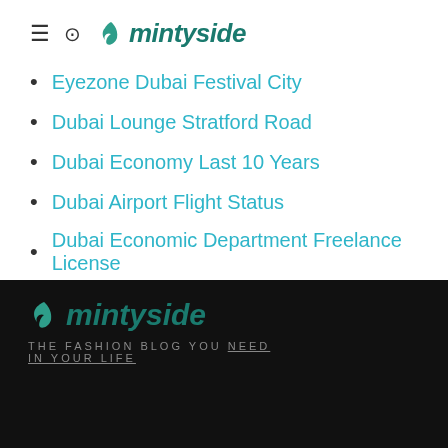mintyside
Eyezone Dubai Festival City
Dubai Lounge Stratford Road
Dubai Economy Last 10 Years
Dubai Airport Flight Status
Dubai Economic Department Freelance License
mintyside — THE FASHION BLOG YOU NEED IN YOUR LIFE